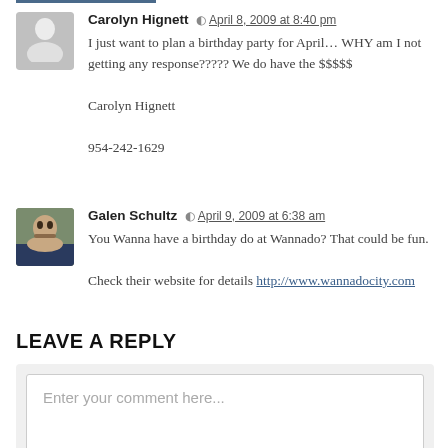Carolyn Hignett — April 8, 2009 at 8:40 pm
I just want to plan a birthday party for April... WHY am I not getting any response????? We do have the $$$$$
carolyn Hignett
954-242-1629
Galen Schultz — April 9, 2009 at 6:38 am
You Wanna have a birthday do at Wannado? That could be fun.
Check their website for details http://www.wannadocity.com
LEAVE A REPLY
Enter your comment here...